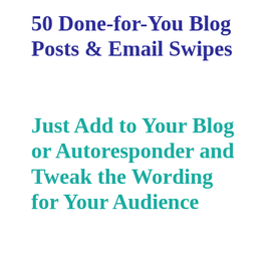50 Done-for-You Blog Posts & Email Swipes
Just Add to Your Blog or Autoresponder and Tweak the Wording for Your Audience